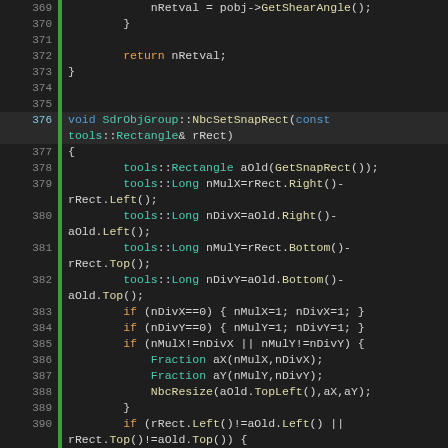[Figure (screenshot): Source code editor screenshot showing C++ code for SdrObjGroup class methods NbcSetSnapRect and NbcSetLogicRect, lines 369-396, with syntax highlighting on dark background.]